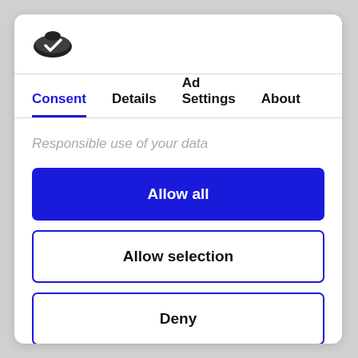[Figure (logo): Cookiebot/Usercentrics logo: dark oval/cookie shape icon]
Consent | Details | Ad Settings | About
Responsible use of your data
Allow all
Allow selection
Deny
Powered by Cookiebot by Usercentrics